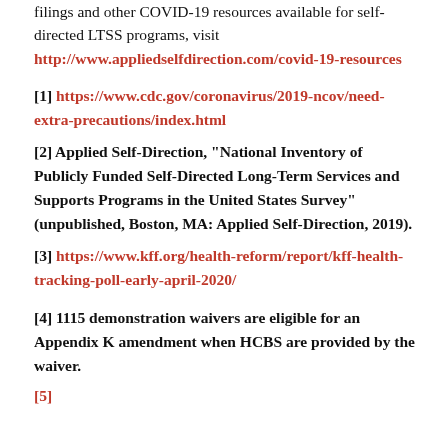filings and other COVID-19 resources available for self-directed LTSS programs, visit http://www.appliedselfdirection.com/covid-19-resources
[1] https://www.cdc.gov/coronavirus/2019-ncov/need-extra-precautions/index.html
[2] Applied Self-Direction, “National Inventory of Publicly Funded Self-Directed Long-Term Services and Supports Programs in the United States Survey” (unpublished, Boston, MA: Applied Self-Direction, 2019).
[3] https://www.kff.org/health-reform/report/kff-health-tracking-poll-early-april-2020/
[4] 1115 demonstration waivers are eligible for an Appendix K amendment when HCBS are provided by the waiver.
[5] ...